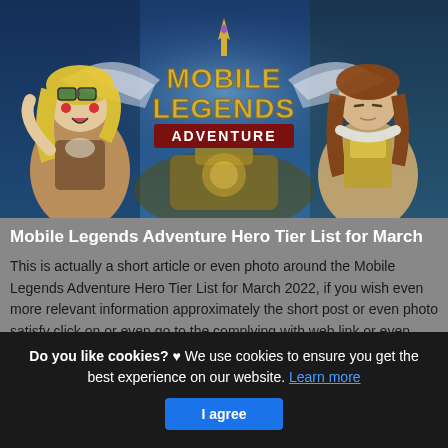[Figure (illustration): Mobile Legends Adventure game banner showing two anime-style characters flanking the Mobile Legends Adventure logo with fantasy background]
Mobile Legends Adventure Hero Tier List for March
This is actually a short article or even photo around the Mobile Legends Adventure Hero Tier List for March 2022, if you wish even more relevant information approximately the short post or even photo satisfy click on or even go to the complying with web link or even web link .
(Read More)
Source: gamingonphone.com Visit Web
Do you like cookies? ♥ We use cookies to ensure you get the best experience on our website. Learn more
I agree